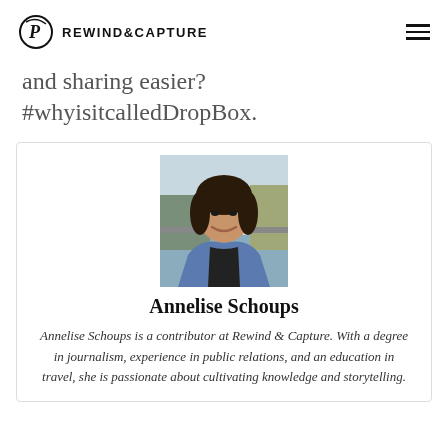REWIND&CAPTURE
and sharing easier? #whyisitcalledDropBox.
[Figure (photo): Portrait photo of Annelise Schoups, a young woman with dark hair, smiling, wearing a denim jacket, with a waterfront scene in the background.]
Annelise Schoups
Annelise Schoups is a contributor at Rewind & Capture. With a degree in journalism, experience in public relations, and an education in travel, she is passionate about cultivating knowledge and storytelling.